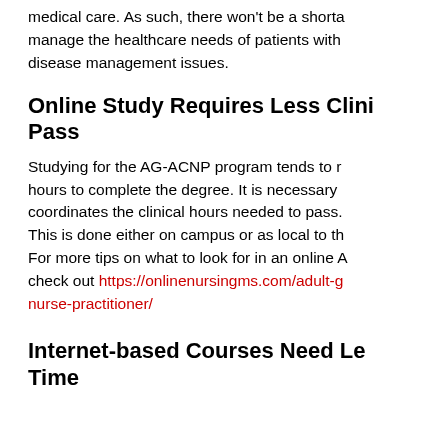medical care. As such, there won't be a shortage of nurses who can manage the healthcare needs of patients with disease management issues.
Online Study Requires Less Clini... Pass
Studying for the AG-ACNP program tends to require many hours to complete the degree. It is necessary to coordinate the clinical hours needed to pass. This is done either on campus or as local to the student as possible. For more tips on what to look for in an online AG-ACNP program, check out https://onlinenursingms.com/adult-gerontology-acute-care-nurse-practitioner/
Internet-based Courses Need Le... Time